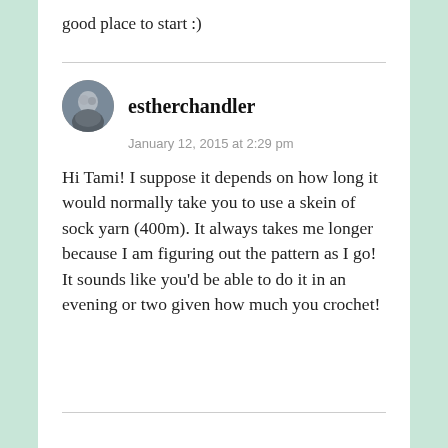good place to start :)
estherchandler
January 12, 2015 at 2:29 pm

Hi Tami! I suppose it depends on how long it would normally take you to use a skein of sock yarn (400m). It always takes me longer because I am figuring out the pattern as I go! It sounds like you'd be able to do it in an evening or two given how much you crochet!